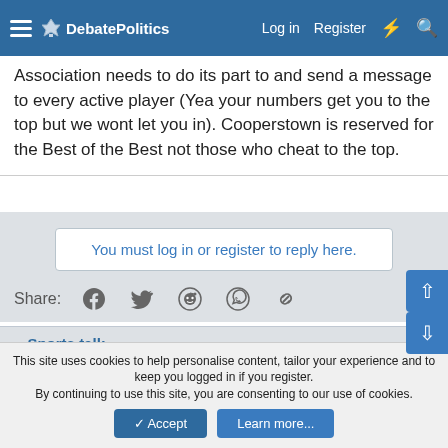DebatePolitics — Log in   Register
Association needs to do its part to and send a message to every active player (Yea your numbers get you to the top but we wont let you in). Cooperstown is reserved for the Best of the Best not those who cheat to the top.
You must log in or register to reply here.
Share:
< Sports talk
DP 3.0
Contact us   Terms and rules   Privacy policy   Help   Home
Community platform by XenForo® © 2010-2021 XenForo Ltd.
This site uses cookies to help personalise content, tailor your experience and to keep you logged in if you register.
By continuing to use this site, you are consenting to our use of cookies.